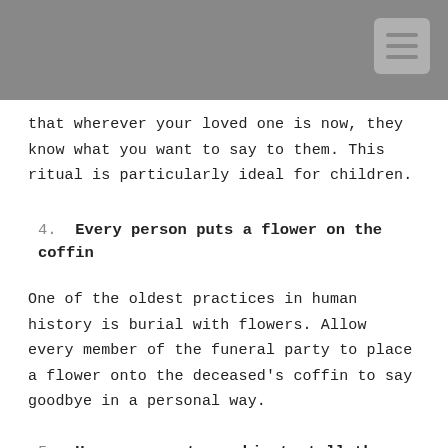that wherever your loved one is now, they know what you want to say to them. This ritual is particularly ideal for children.
4. Every person puts a flower on the coffin
One of the oldest practices in human history is burial with flowers. Allow every member of the funeral party to place a flower onto the deceased’s coffin to say goodbye in a personal way.
5. Use a gravestone chip to tell the person’s life story